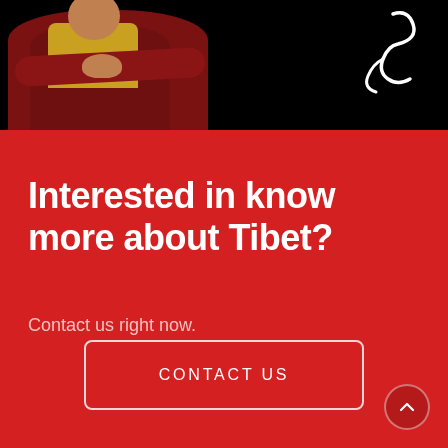[Figure (photo): Monk in dark red robes with hands clasped, against black background, with white cursive symbol visible at top right]
Interested in know more about Tibet?
Contact us right now.
CONTACT US